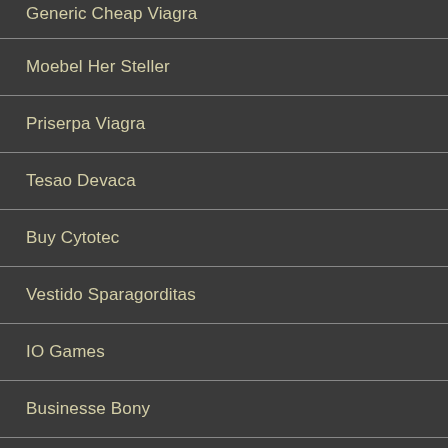Generic Cheap Viagra
Moebel Her Steller
Priserpa Viagra
Tesao Devaca
Buy Cytotec
Vestido Sparagorditas
IO Games
Businesse Bony
Jewelry Affna
Amoxil Amoxicillin Online
Land Fashion